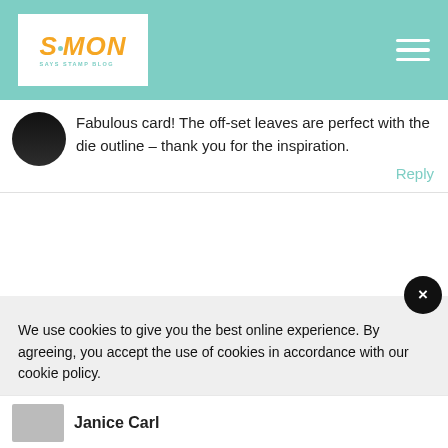Simon Says Stamp Blog
Fabulous card! The off-set leaves are perfect with the die outline – thank you for the inspiration.
Reply
We use cookies to give you the best online experience. By agreeing, you accept the use of cookies in accordance with our cookie policy.
DECLINE
I ACCEPT
Privacy Policy   Cookie Policy
Janice Carl